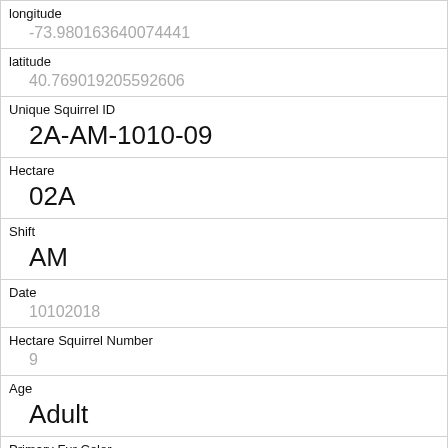| longitude (partial) | -73.980163640074441 |
| latitude | 40.769019205592606 |
| Unique Squirrel ID | 2A-AM-1010-09 |
| Hectare | 02A |
| Shift | AM |
| Date | 10102018 |
| Hectare Squirrel Number | 9 |
| Age | Adult |
| Primary Fur Color | Gray |
| Highlight Fur Color | White |
| Combination of Primary and Highlight Color |  |